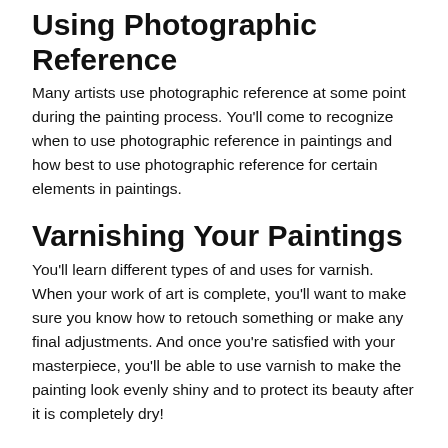Using Photographic Reference
Many artists use photographic reference at some point during the painting process. You'll come to recognize when to use photographic reference in paintings and how best to use photographic reference for certain elements in paintings.
Varnishing Your Paintings
You'll learn different types of and uses for varnish. When your work of art is complete, you'll want to make sure you know how to retouch something or make any final adjustments. And once you're satisfied with your masterpiece, you'll be able to use varnish to make the painting look evenly shiny and to protect its beauty after it is completely dry!
Also . . .
Painting a gradation